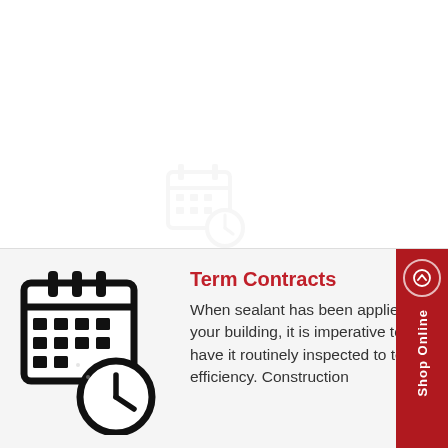[Figure (illustration): Faint watermark-style calendar with clock icon in upper portion of page]
[Figure (illustration): Black calendar icon with clock overlay, representing scheduled term contracts]
Term Contracts
When sealant has been applied in your building, it is imperative to have it routinely inspected to test its efficiency. Construction Sealants are dedicated to...